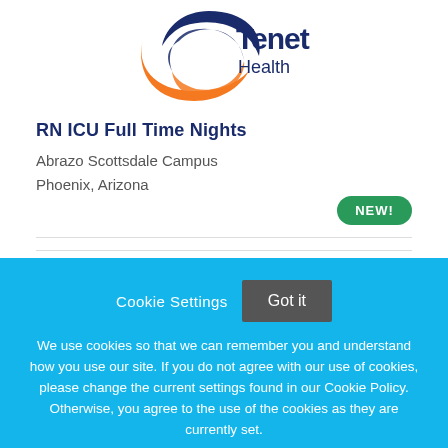[Figure (logo): Tenet Health logo with circular graphic in blue and orange, and 'Tenet Health' text in navy blue]
RN ICU Full Time Nights
Abrazo Scottsdale Campus
Phoenix, Arizona
NEW!
Cookie Settings  Got it
We use cookies so that we can remember you and understand how you use our site. If you do not agree with our use of cookies, please change the current settings found in our Cookie Policy. Otherwise, you agree to the use of the cookies as they are currently set.